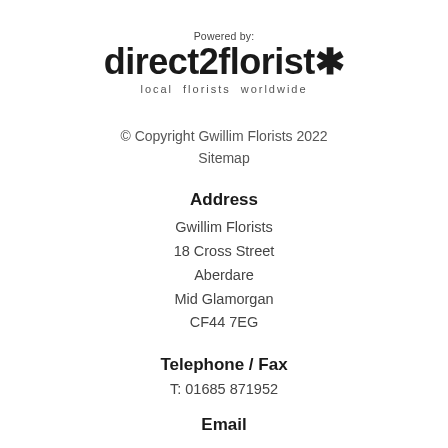[Figure (logo): direct2florist logo with 'Powered by:' text above and 'local florists worldwide' tagline below]
© Copyright Gwillim Florists 2022
Sitemap
Address
Gwillim Florists
18 Cross Street
Aberdare
Mid Glamorgan
CF44 7EG
Telephone / Fax
T: 01685 871952
Email